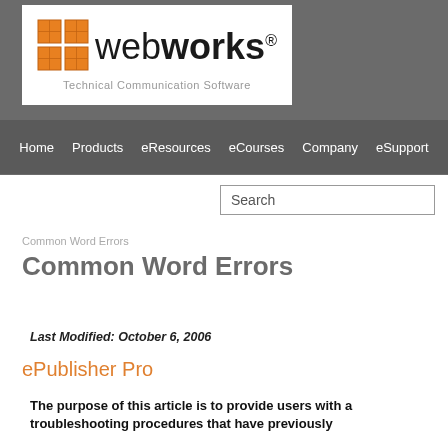[Figure (logo): WebWorks logo with orange grid icon and tagline 'Technical Communication Software']
Home  Products  eResources  eCourses  Company  eSupport
Search
Common Word Errors
Common Word Errors
Last Modified: October 6, 2006
ePublisher Pro
The purpose of this article is to provide users with a troubleshooting procedures that have previously